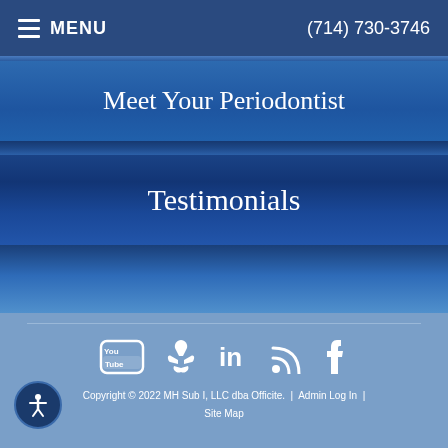≡ MENU    (714) 730-3746
Meet Your Periodontist
Testimonials
[Figure (infographic): Social media icons row: YouTube, Yelp, LinkedIn, RSS feed, Facebook — all white icons on light blue background]
Copyright © 2022 MH Sub I, LLC dba Officite.  |  Admin Log In  |  Site Map